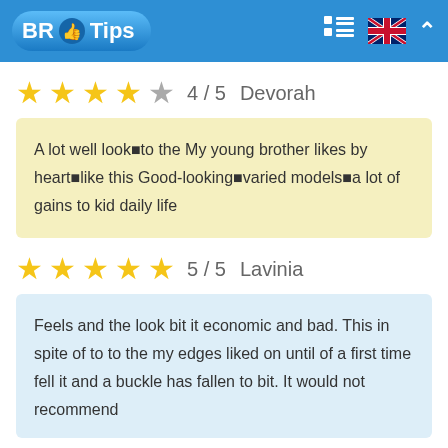BR Tips
★★★★☆ 4 / 5  Devorah
A lot well look■to the My young brother likes by heart■like this Good-looking■varied models■a lot of gains to kid daily life
★★★★★ 5 / 5  Lavinia
Feels and the look bit it economic and bad. This in spite of to to the my edges liked on until of a first time fell it and a buckle has fallen to bit. It would not recommend